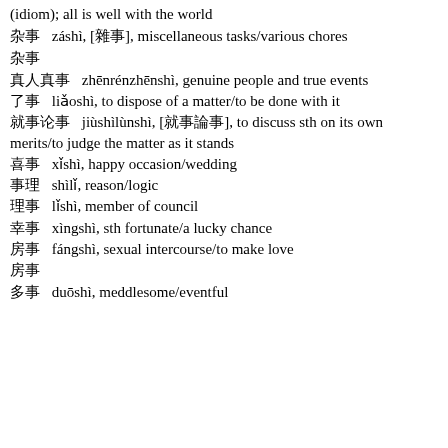(idiom); all is well with the world
杂事 záshì, [雜事], miscellaneous tasks/various chores
杂事
真人真事 zhēnrénzhēnshì, genuine people and true events
了事 liǎoshì, to dispose of a matter/to be done with it
就事论事 jiùshìlùnshì, [就事論事], to discuss sth on its own merits/to judge the matter as it stands
喜事 xǐshì, happy occasion/wedding
事理 shìlǐ, reason/logic
理事 lǐshì, member of council
幸事 xìngshì, sth fortunate/a lucky chance
房事 fángshì, sexual intercourse/to make love
房事
多事 duōshì, meddlesome/eventful